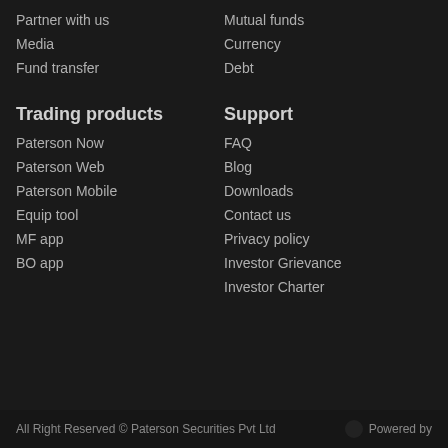Partner with us
Mutual funds
Media
Currency
Fund transfer
Debt
Trading products
Support
Paterson Now
FAQ
Paterson Web
Blog
Paterson Mobile
Downloads
Equip tool
Contact us
MF app
Privacy policy
BO app
Investor Grievance
Investor Charter
All Right Reserved © Paterson Securities Pvt Ltd   Powered by